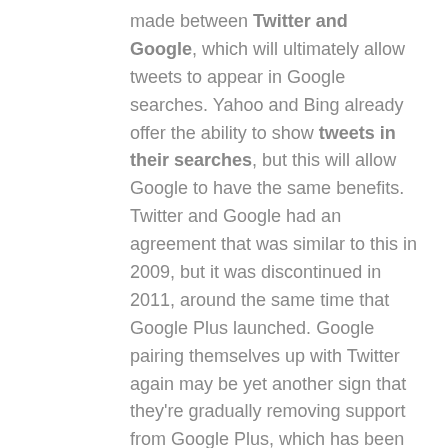made between Twitter and Google, which will ultimately allow tweets to appear in Google searches. Yahoo and Bing already offer the ability to show tweets in their searches, but this will allow Google to have the same benefits. Twitter and Google had an agreement that was similar to this in 2009, but it was discontinued in 2011, around the same time that Google Plus launched. Google pairing themselves up with Twitter again may be yet another sign that they're gradually removing support from Google Plus, which has been circling the drain for a while now.